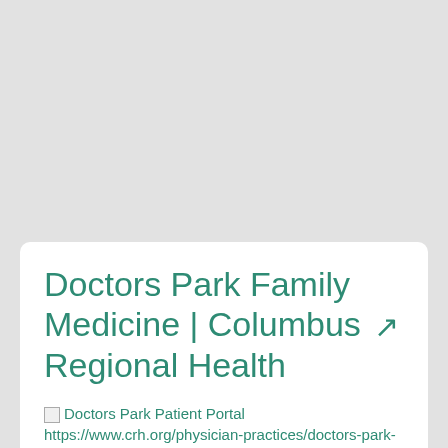Doctors Park Family Medicine | Columbus ↗ Regional Health
Doctors Park Patient Portal https://www.crh.org/physician-practices/doctors-park-family-medicine